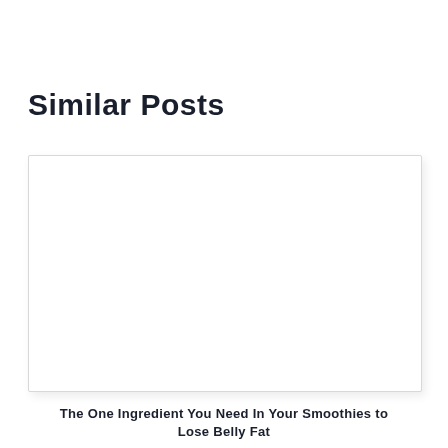Similar Posts
[Figure (photo): Blank white image placeholder with light border and shadow]
The One Ingredient You Need In Your Smoothies to Lose Belly Fat